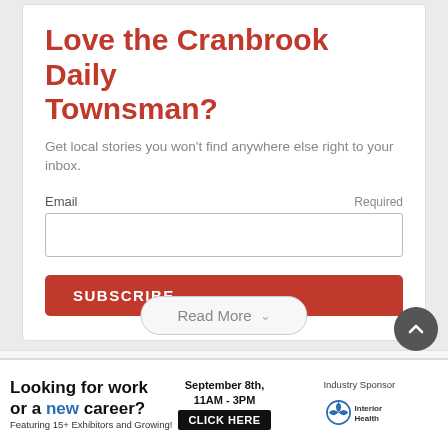Love the Cranbrook Daily Townsman?
Get local stories you won't find anywhere else right to your inbox.
Email   Required
SUBSCRIBE
Read More
[Figure (screenshot): Ad banner for job fair: 'Looking for work or a new career? Featuring 15+ Exhibitors and Growing! September 8th, 11AM - 3PM CLICK HERE | Industry Sponsor Interior Health']